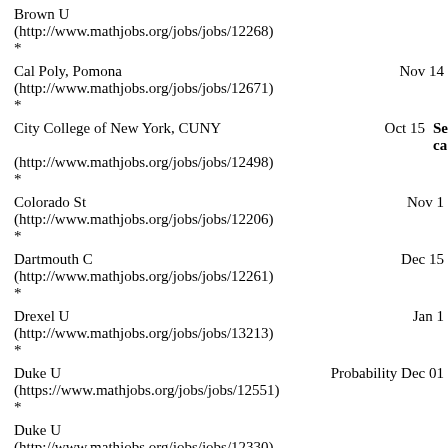Brown U (http://www.mathjobs.org/jobs/jobs/12268) *
Cal Poly, Pomona (http://www.mathjobs.org/jobs/jobs/12671) * Nov 14
City College of New York, CUNY (http://www.mathjobs.org/jobs/jobs/12498) * Oct 15 Se ca
Colorado St (http://www.mathjobs.org/jobs/jobs/12206) * Nov 1
Dartmouth C (http://www.mathjobs.org/jobs/jobs/12261) * Dec 15
Drexel U (http://www.mathjobs.org/jobs/jobs/13213) * Jan 1
Duke U (https://www.mathjobs.org/jobs/jobs/12551) * Probability Dec 01
Duke U (http://www.mathjobs.org/jobs/jobs/12330) *